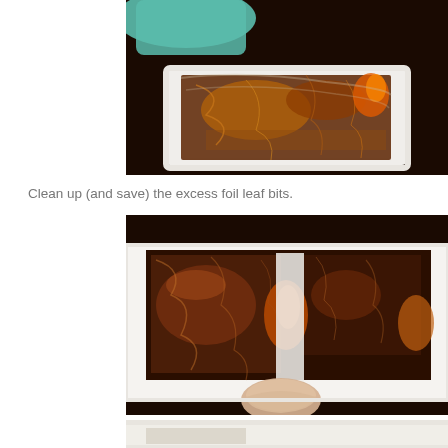[Figure (photo): Close-up photo of copper/dark foil leaf being applied or peeled off a white surface, with a teal/green bag visible in the upper left corner. The foil shows crinkled metallic texture in dark copper-brown tones.]
Clean up (and save) the excess foil leaf bits.
[Figure (photo): Close-up photo showing dark copper/bronze foil leaf on a white surface, with a hand visible at the bottom removing or adjusting excess foil. The foil shows irregular edges and metallic sheen.]
[Figure (photo): Partial view of the bottom of another photo showing a white surface with foil, cropped at the bottom of the page.]